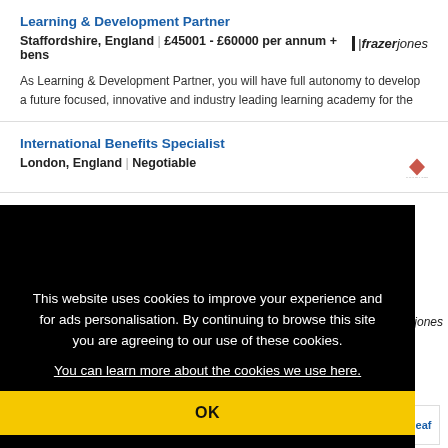Learning & Development Partner
Staffordshire, England | £45001 - £60000 per annum + bens
As Learning & Development Partner, you will have full autonomy to develop a future focused, innovative and industry leading learning academy for the
International Benefits Specialist
London, England | Negotiable
This website uses cookies to improve your experience and for ads personalisation. By continuing to browse this site you are agreeing to our use of these cookies. You can learn more about the cookies we use here.
OK
annum